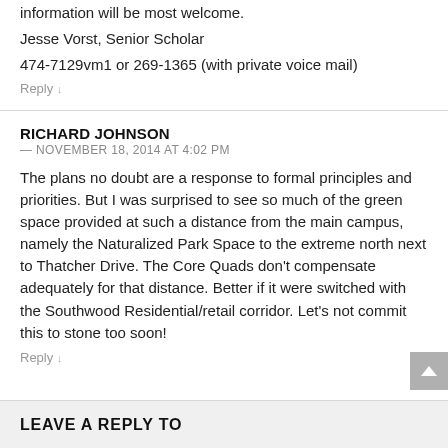information will be most welcome.
Jesse Vorst, Senior Scholar
474-7129vm1 or 269-1365 (with private voice mail)
Reply ↓
RICHARD JOHNSON
— NOVEMBER 18, 2014 AT 4:02 PM
The plans no doubt are a response to formal principles and priorities. But I was surprised to see so much of the green space provided at such a distance from the main campus, namely the Naturalized Park Space to the extreme north next to Thatcher Drive. The Core Quads don't compensate adequately for that distance. Better if it were switched with the Southwood Residential/retail corridor. Let's not commit this to stone too soon!
Reply ↓
LEAVE A REPLY TO